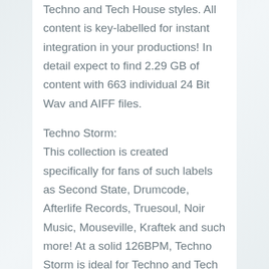Techno and Tech House styles. All content is key-labelled for instant integration in your productions! In detail expect to find 2.29 GB of content with 663 individual 24 Bit Wav and AIFF files.
Techno Storm:
This collection is created specifically for fans of such labels as Second State, Drumcode, Afterlife Records, Truesoul, Noir Music, Mouseville, Kraftek and such more! At a solid 126BPM, Techno Storm is ideal for Techno and Tech House styles. All content is key-labelled for instant integration in your productions! In detail